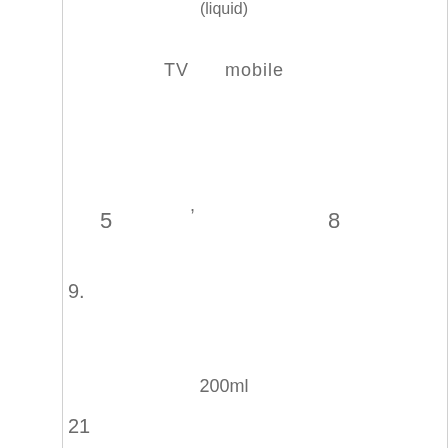(liquid)
TV      mobile
,
5
8
9.
200ml
21